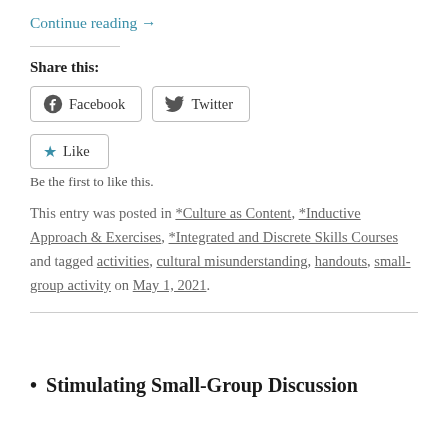Continue reading →
Share this:
Facebook  Twitter
Like
Be the first to like this.
This entry was posted in *Culture as Content, *Inductive Approach & Exercises, *Integrated and Discrete Skills Courses and tagged activities, cultural misunderstanding, handouts, small-group activity on May 1, 2021.
• Stimulating Small-Group Discussion